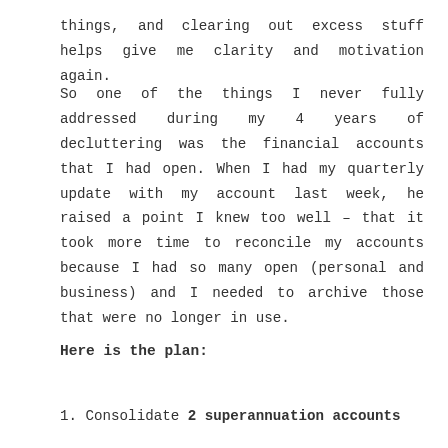things, and clearing out excess stuff helps give me clarity and motivation again.
So one of the things I never fully addressed during my 4 years of decluttering was the financial accounts that I had open. When I had my quarterly update with my account last week, he raised a point I knew too well – that it took more time to reconcile my accounts because I had so many open (personal and business) and I needed to archive those that were no longer in use.
Here is the plan:
Consolidate 2 superannuation accounts